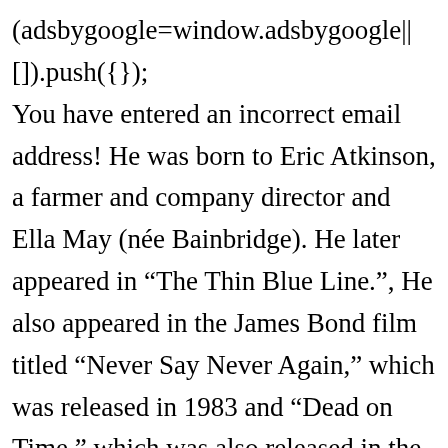(adsbygoogle=window.adsbygoogle||[]).push({}); You have entered an incorrect email address! He was born to Eric Atkinson, a farmer and company director and Ella May (née Bainbridge). He later appeared in “The Thin Blue Line.”, He also appeared in the James Bond film titled “Never Say Never Again,” which was released in 1983 and “Dead on Time,” which was also released in the same year. Mr. Bean was adapted for film in 1997 and enjoyed wide success. Rowan Atkinson was born on January 6, 1955, in Consett, County, Durham, England. “It’s easier for me to perform